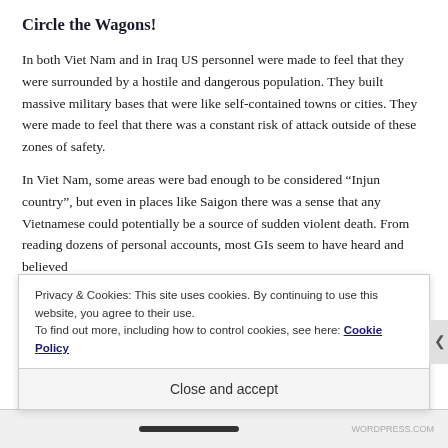Circle the Wagons!
In both Viet Nam and in Iraq US personnel were made to feel that they were surrounded by a hostile and dangerous population. They built massive military bases that were like self-contained towns or cities. They were made to feel that there was a constant risk of attack outside of these zones of safety.
In Viet Nam, some areas were bad enough to be considered “Injun country”, but even in places like Saigon there was a sense that any Vietnamese could potentially be a source of sudden violent death. From reading dozens of personal accounts, most GIs seem to have heard and believed
Privacy & Cookies: This site uses cookies. By continuing to use this website, you agree to their use.
To find out more, including how to control cookies, see here: Cookie Policy
Close and accept